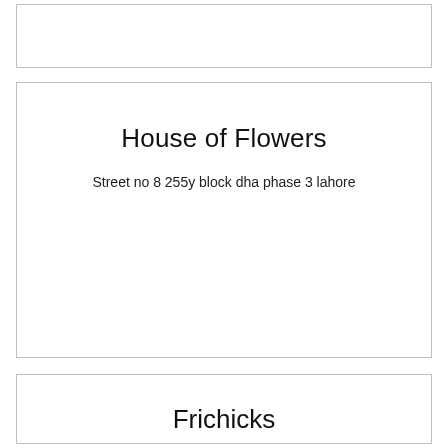House of Flowers
Street no 8 255y block dha phase 3 lahore
Frichicks